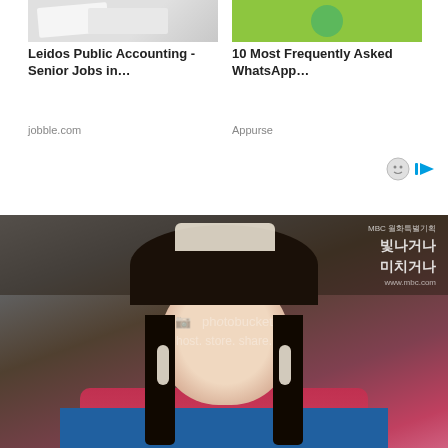[Figure (screenshot): Advertisement thumbnail: desk/office scene with papers, gray tones]
Leidos Public Accounting - Senior Jobs in…
jobble.com
[Figure (screenshot): Advertisement thumbnail: green background with circular icon]
10 Most Frequently Asked WhatsApp…
Appurse
[Figure (photo): A woman in traditional Korean historical costume (hanbok) with elaborate hair ornaments and white drop earrings, looking sideways. She wears a red and blue embroidered hanbok. Korean drama watermark visible with Photobucket host.store.share. watermark overlaid. MBC Korean drama logo in top right corner.]